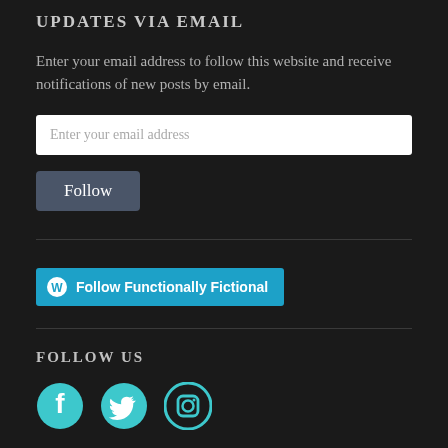UPDATES VIA EMAIL
Enter your email address to follow this website and receive notifications of new posts by email.
[Figure (screenshot): Email input text field with placeholder text 'Enter your email address']
[Figure (screenshot): Follow button, dark grey background with white text]
[Figure (screenshot): WordPress Follow Functionally Fictional button in teal/blue]
FOLLOW US
[Figure (infographic): Social media icons: Facebook, Twitter, Instagram in teal color]